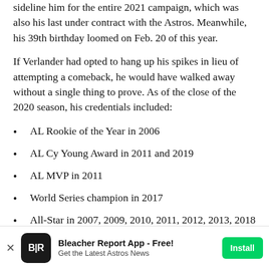sideline him for the entire 2021 campaign, which was also his last under contract with the Astros. Meanwhile, his 39th birthday loomed on Feb. 20 of this year.
If Verlander had opted to hang up his spikes in lieu of attempting a comeback, he would have walked away without a single thing to prove. As of the close of the 2020 season, his credentials included:
AL Rookie of the Year in 2006
AL Cy Young Award in 2011 and 2019
AL MVP in 2011
World Series champion in 2017
All-Star in 2007, 2009, 2010, 2011, 2012, 2013, 2018 and 2019
Bleacher Report App - Free! Get the Latest Astros News Install